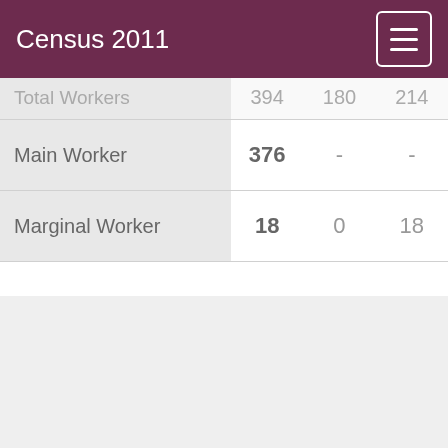Census 2011
| Category | Col1 | Col2 | Col3 |
| --- | --- | --- | --- |
| Total Workers | 394 | 180 | 214 |
| Main Worker | 376 | - | - |
| Marginal Worker | 18 | 0 | 18 |